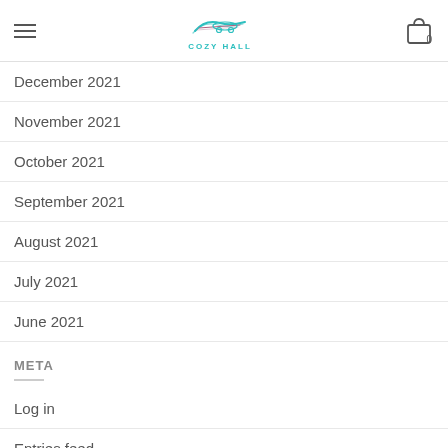COZY HALL — navigation header with logo and cart
December 2021
November 2021
October 2021
September 2021
August 2021
July 2021
June 2021
META
Log in
Entries feed
Comments feed
WordPress.org